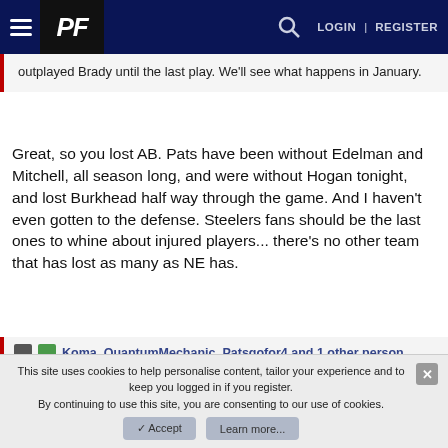PF  LOGIN | REGISTER
outplayed Brady until the last play. We'll see what happens in January.
Great, so you lost AB. Pats have been without Edelman and Mitchell, all season long, and were without Hogan tonight, and lost Burkhead half way through the game. And I haven't even gotten to the defense. Steelers fans should be the last ones to whine about injured players... there's no other team that has lost as many as NE has.
Koma, QuantumMechanic, Patsgofor4 and 1 other person
This site uses cookies to help personalise content, tailor your experience and to keep you logged in if you register.
By continuing to use this site, you are consenting to our use of cookies.